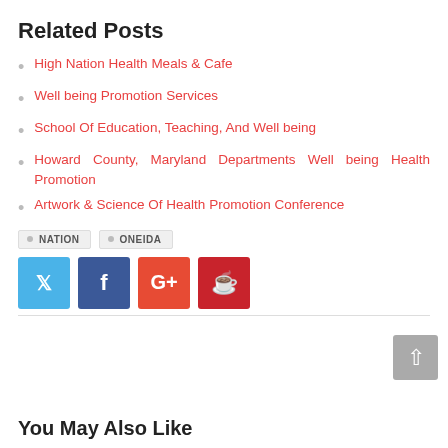Related Posts
High Nation Health Meals & Cafe
Well being Promotion Services
School Of Education, Teaching, And Well being
Howard County, Maryland Departments Well being Health Promotion
Artwork & Science Of Health Promotion Conference
NATION   ONEIDA
[Figure (infographic): Social share buttons: Twitter (blue), Facebook (dark blue), Google+ (orange-red), Pinterest (dark red)]
You May Also Like